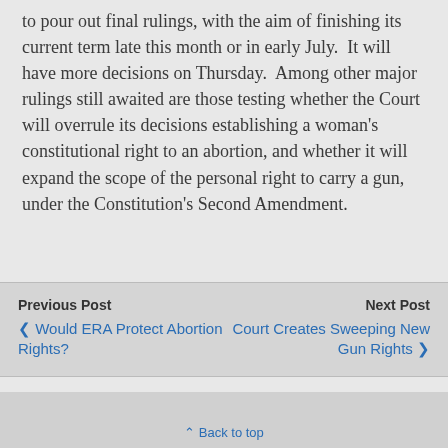to pour out final rulings, with the aim of finishing its current term late this month or in early July.  It will have more decisions on Thursday.  Among other major rulings still awaited are those testing whether the Court will overrule its decisions establishing a woman's constitutional right to an abortion, and whether it will expand the scope of the personal right to carry a gun, under the Constitution's Second Amendment.
Previous Post | ❬ Would ERA Protect Abortion Rights? | Next Post | Court Creates Sweeping New Gun Rights ❭
⌃ Back to top